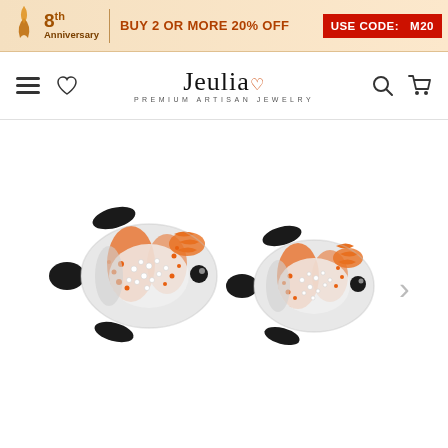8th Anniversary | BUY 2 OR MORE 20% OFF USE CODE: M20
[Figure (logo): Jeulia Premium Artisan Jewelry logo with navigation icons (hamburger menu, heart, search, cart)]
[Figure (photo): Two clownfish stud earrings made of sterling silver with orange and white cubic zirconia stones and black enamel fins, shown side by side on white background]